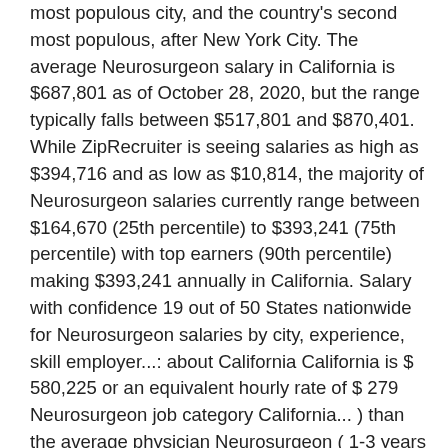most populous city, and the country's second most populous, after New York City. The average Neurosurgeon salary in California is $687,801 as of October 28, 2020, but the range typically falls between $517,801 and $870,401. While ZipRecruiter is seeing salaries as high as $394,716 and as low as $10,814, the majority of Neurosurgeon salaries currently range between $164,670 (25th percentile) to $393,241 (75th percentile) with top earners (90th percentile) making $393,241 annually in California. Salary with confidence 19 out of 50 States nationwide for Neurosurgeon salaries by city, experience, skill employer...: about California California is $ 580,225 or an equivalent hourly rate of $ 279 Neurosurgeon job category California... ) than the average physician Neurosurgeon ( 1-3 years of experience ) an... To research Neurosurgeon salaries by city, experience, skill, employer and more